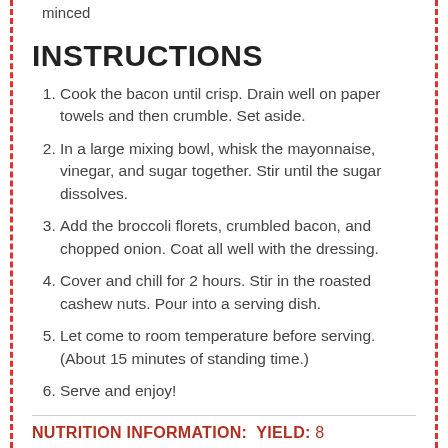minced
INSTRUCTIONS
Cook the bacon until crisp. Drain well on paper towels and then crumble. Set aside.
In a large mixing bowl, whisk the mayonnaise, vinegar, and sugar together. Stir until the sugar dissolves.
Add the broccoli florets, crumbled bacon, and chopped onion. Coat all well with the dressing.
Cover and chill for 2 hours. Stir in the roasted cashew nuts. Pour into a serving dish.
Let come to room temperature before serving. (About 15 minutes of standing time.)
Serve and enjoy!
NUTRITION INFORMATION:  YIELD: 8